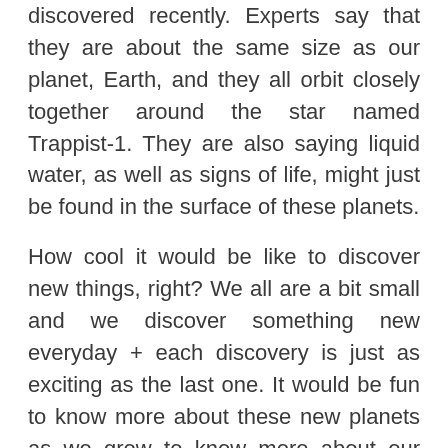discovered recently. Experts say that they are about the same size as our planet, Earth, and they all orbit closely together around the star named Trappist-1. They are also saying liquid water, as well as signs of life, might just be found in the surface of these planets.
How cool it would be like to discover new things, right? We all are a bit small and we discover something new everyday + each discovery is just as exciting as the last one. It would be fun to know more about these new planets as we grow to know more about our own. We have yet to talk about these topics in school + I cannot wait to learn about them!
Do you also like the new Google Doodle + the new